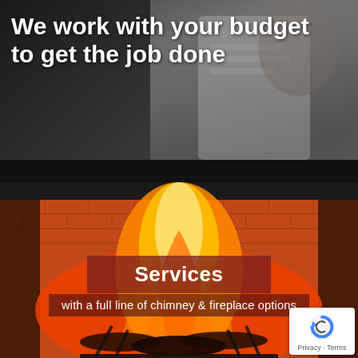[Figure (photo): Top section with dark background and person reviewing documents, semi-visible in upper right]
We work with your budget to get the job done
[Figure (photo): Fireplace with burning logs and glowing orange flames, brick surround]
Services
with a full line of chimney & fireplace options
[Figure (logo): Google reCAPTCHA badge with Privacy and Terms links]